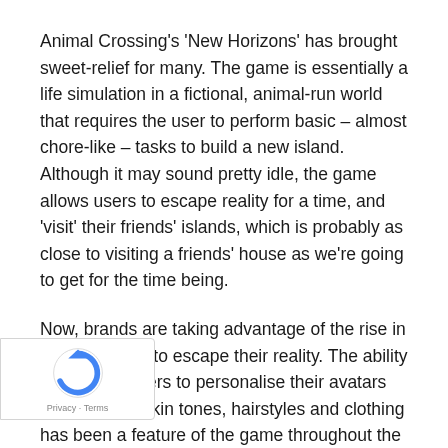Animal Crossing's 'New Horizons' has brought sweet-relief for many. The game is essentially a life simulation in a fictional, animal-run world that requires the user to perform basic – almost chore-like – tasks to build a new island. Although it may sound pretty idle, the game allows users to escape reality for a time, and 'visit' their friends' islands, which is probably as close to visiting a friends' house as we're going to get for the time being.
Now, brands are taking advantage of the rise in people's need to escape their reality. The ability for these gamers to personalise their avatars with differing skin tones, hairstyles and clothing has been a feature of the game throughout the series, but fashion brands are now [obscured] to take advantage of this, by allowing users to [obscured] their avatars up in their branded apparel.
[Figure (logo): Google reCAPTCHA badge with Privacy and Terms links at bottom left of page]